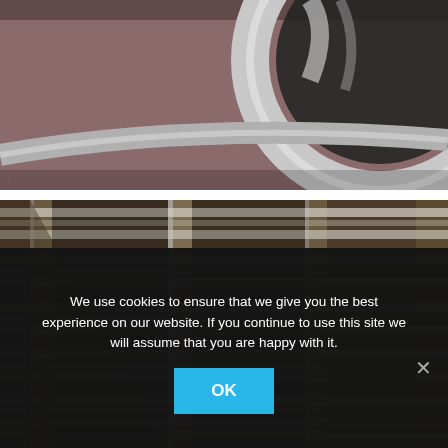[Figure (photo): Close-up photo of a chrome/metallic curved surface of a vehicle or industrial object, showing reflective metal against a brownish-maroon background.]
[Figure (photo): Close-up photo of a vehicle grille or ventilation louvres with horizontal slats, dark brownish metallic color with chrome vertical bars.]
We use cookies to ensure that we give you the best experience on our website. If you continue to use this site we will assume that you are happy with it.
OK